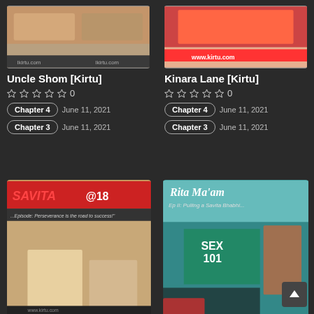[Figure (illustration): Comic book cover for Uncle Shom [Kirtu] - top portion visible]
[Figure (illustration): Comic book cover for Kinara Lane [Kirtu] - top portion with www.kirtu.com banner]
Uncle Shom [Kirtu]
Kinara Lane [Kirtu]
☆☆☆☆☆ 0
☆☆☆☆☆ 0
Chapter 4   June 11, 2021
Chapter 4   June 11, 2021
Chapter 3   June 11, 2021
Chapter 3   June 11, 2021
[Figure (illustration): Savita@18 [Kirtu] comic cover - SAVITA@18 title in red, Episode text, cartoon figures]
[Figure (illustration): Rita Ma'am [Kirtu] comic cover - Rita Ma'am title, Ep II: Pulling a Savita Bhabhi, SEX 101 on chalkboard]
Savita@18 [Kirtu]
Miss Rita [Kirtu]